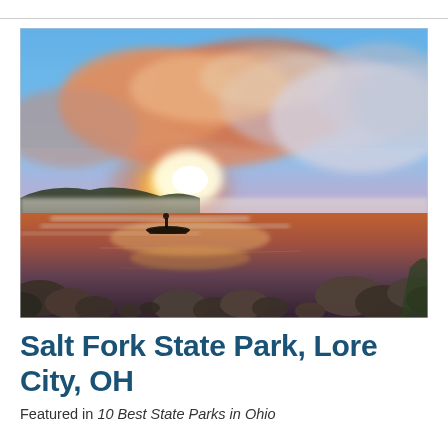[Figure (photo): Scenic sunrise over a misty lake at Salt Fork State Park, with orange and pink clouds reflected in calm water, silhouette of a small boat, and rocky foreground]
Salt Fork State Park, Lore City, OH
Featured in 10 Best State Parks in Ohio